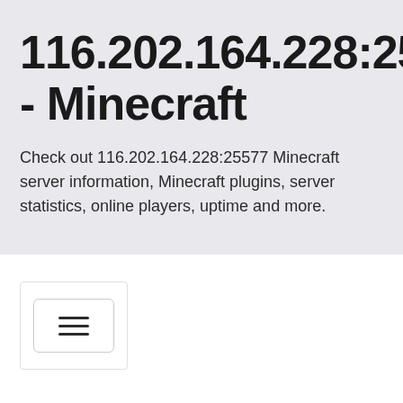116.202.164.228:25577 - Minecraft
Check out 116.202.164.228:25577 Minecraft server information, Minecraft plugins, server statistics, online players, uptime and more.
[Figure (other): Hamburger menu toggle button with three horizontal lines]
Minecraft servers » 116.202.164.228:25577